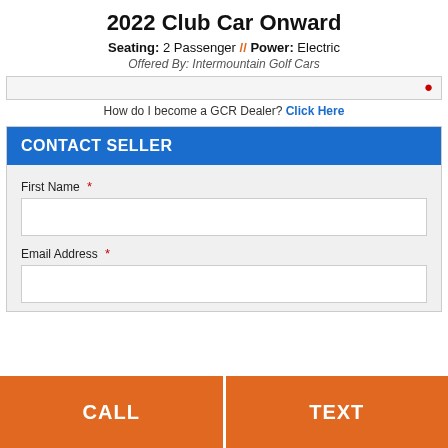2022 Club Car Onward
Seating: 2 Passenger // Power: Electric
Offered By: Intermountain Golf Cars
How do I become a GCR Dealer? Click Here
CONTACT SELLER
First Name *
Email Address *
CALL
TEXT